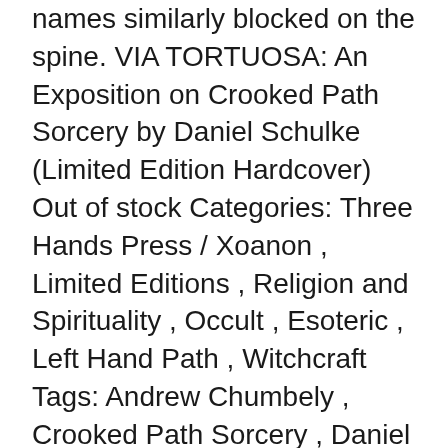names similarly blocked on the spine. VIA TORTUOSA: An Exposition on Crooked Path Sorcery by Daniel Schulke (Limited Edition Hardcover) Out of stock Categories: Three Hands Press / Xoanon , Limited Editions , Religion and Spirituality , Occult , Esoteric , Left Hand Path , Witchcraft Tags: Andrew Chumbely , Crooked Path Sorcery , Daniel Schulke , Three Hand Press , Xoanon Please note: We only have 10 copies of this title available to us to offer in our bookstore. Once they're gone, they're gone! Via Tortuosa By Daniel Schulke & Robert Fitzgerald Hardback - FINE CLOTH VOLUME - bound in lush Carmine, with a special letterpress printed dust jacket Images: James Dunk Publisher: Xoanon Limited to 496 hand numbered copies In the central Adytum of the Crooked Way Xoanon Publishing, 2018. Limited to